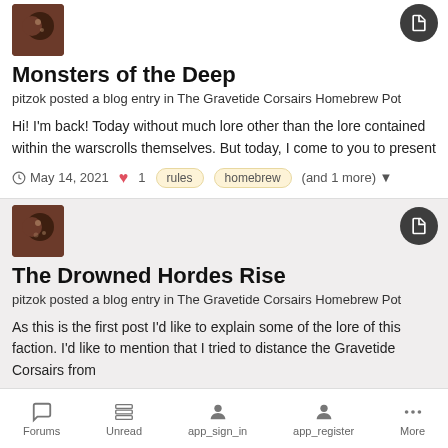[Figure (photo): Avatar thumbnail of a crescent moon with decorative illustration]
Monsters of the Deep
pitzok posted a blog entry in The Gravetide Corsairs Homebrew Pot
Hi! I'm back! Today without much lore other than the lore contained within the warscrolls themselves. But today, I come to you to present
May 14, 2021  ♥ 1  rules  homebrew  (and 1 more)
[Figure (photo): Avatar thumbnail of a crescent moon with decorative illustration]
The Drowned Hordes Rise
pitzok posted a blog entry in The Gravetide Corsairs Homebrew Pot
As this is the first post I'd like to explain some of the lore of this faction. I'd like to mention that I tried to distance the Gravetide Corsairs from
Forums  Unread  app_sign_in  app_register  More